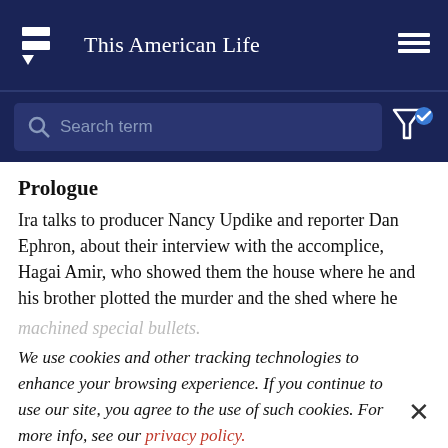This American Life
[Figure (screenshot): Search bar with placeholder 'Search term' on dark navy background, with filter icon to the right]
Prologue
Ira talks to producer Nancy Updike and reporter Dan Ephron, about their interview with the accomplice, Hagai Amir, who showed them the house where he and his brother plotted the murder and the shed where he
We use cookies and other tracking technologies to enhance your browsing experience. If you continue to use our site, you agree to the use of such cookies. For more info, see our privacy policy.
Israel at the time and covered the rally where Rabin was